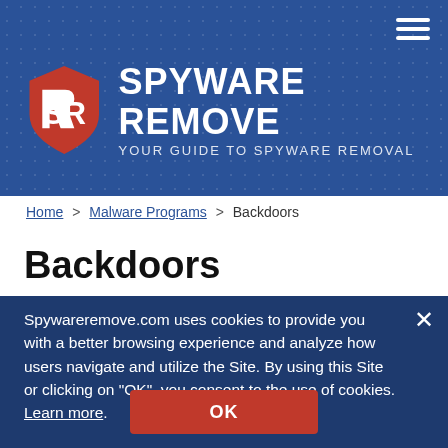[Figure (logo): Spyware Remove website header banner with blue dotted background, SR logo icon (red shield with white SR letters), site name 'SPYWARE REMOVE' in white bold uppercase, tagline 'YOUR GUIDE TO SPYWARE REMOVAL', and hamburger menu icon in top right]
Home > Malware Programs > Backdoors
Backdoors
Spywareremove.com uses cookies to provide you with a better browsing experience and analyze how users navigate and utilize the Site. By using this Site or clicking on "OK", you consent to the use of cookies. Learn more.
OK